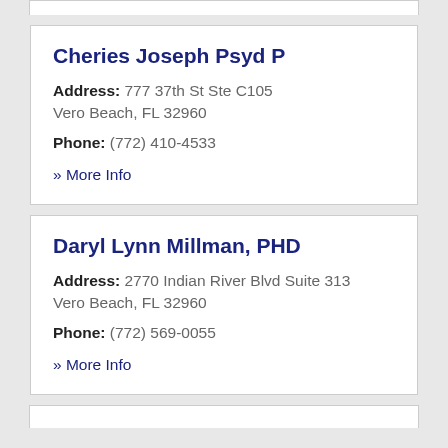Cheries Joseph Psyd P
Address: 777 37th St Ste C105 Vero Beach, FL 32960
Phone: (772) 410-4533
» More Info
Daryl Lynn Millman, PHD
Address: 2770 Indian River Blvd Suite 313 Vero Beach, FL 32960
Phone: (772) 569-0055
» More Info